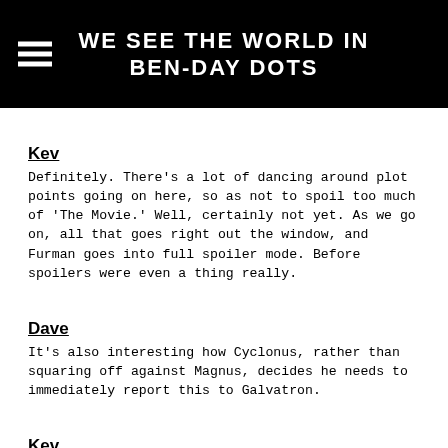WE SEE THE WORLD IN BEN-DAY DOTS
Kev
Definitely.  There's a lot of dancing around plot points going on here, so as not to spoil too much of 'The Movie.'  Well, certainly not yet.  As we go on, all that goes right out the window, and Furman goes into full spoiler mode.  Before spoilers were even a thing really.
Dave
It's also interesting how Cyclonus, rather than squaring off against Magnus, decides he needs to immediately report this to Galvatron.
Kev
Yeh, as powerful as Cyclonus certainly seems to think he is, he knows he's outmatched when it comes to someone like Magnus.  I love Simpson, Perkins and Jozwiak's trees.